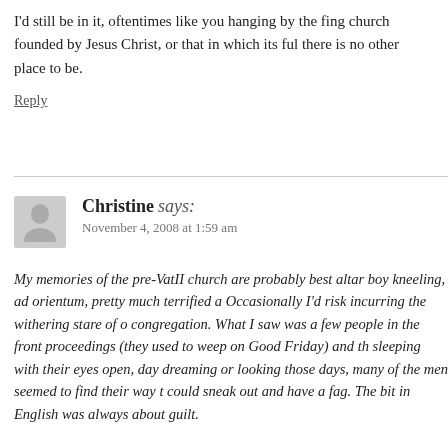I'd still be in it, oftentimes like you hanging by the fing church founded by Jesus Christ, or that in which its ful there is no other place to be.
Reply
Christine says:
November 4, 2008 at 1:59 am
My memories of the pre-VatII church are probably best altar boy kneeling, ad orientum, pretty much terrified a Occasionally I'd risk incurring the withering stare of o congregation. What I saw was a few people in the front proceedings (they used to weep on Good Friday) and th sleeping with their eyes open, day dreaming or looking those days, many of the men seemed to find their way t could sneak out and have a fag. The bit in English was always about guilt.